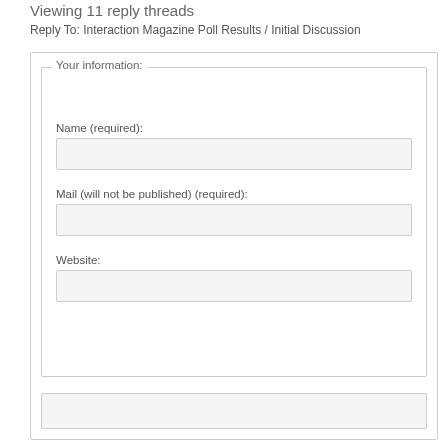Viewing 11 reply threads
Reply To: Interaction Magazine Poll Results / Initial Discussion
Your information:
Name (required):
Mail (will not be published) (required):
Website: